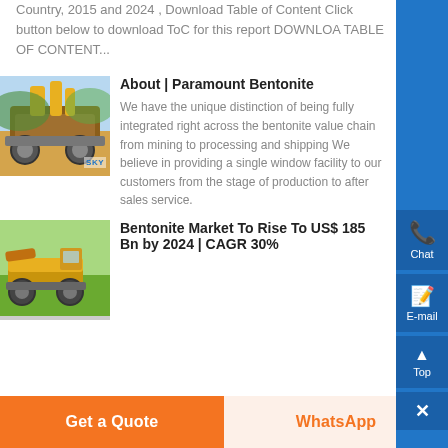Country, 2015 and 2024 , Download Table of Content Click button below to download ToC for this report DOWNLOAD TABLE OF CONTENT...
[Figure (photo): Mining equipment / industrial machine outdoors with yellow and brown tones]
About | Paramount Bentonite
We have the unique distinction of being fully integrated right across the bentonite value chain from mining to processing and shipping We believe in providing a single window facility to our customers from the stage of production to after sales service.
[Figure (photo): Yellow heavy mining/earth-moving machine outdoors]
Bentonite Market To Rise To US$ 185 Bn by 2024 | CAGR 30%
Get a Quote
WhatsApp